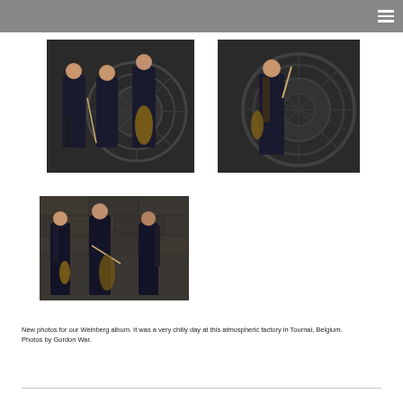[Figure (photo): Three musicians in black clothing holding string instruments (violin, cello, bow) in an industrial factory setting with large circular machinery in background]
[Figure (photo): Solo female musician in black clothing holding a violin bow, standing in front of large circular industrial machinery]
[Figure (photo): Three musicians in black clothing holding string instruments in front of a weathered wall in an industrial setting]
New photos for our Weinberg album. It was a very chilly day at this atmospheric factory in Tournai, Belgium. Photos by Gordon War.